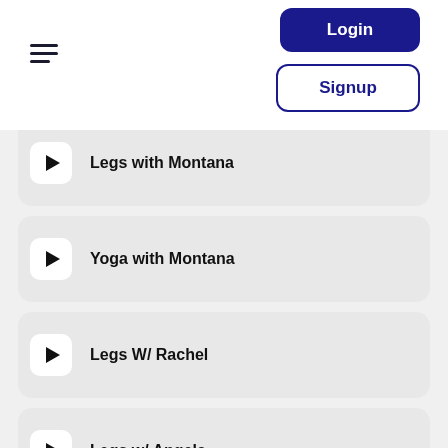[Figure (screenshot): Hamburger menu icon with three horizontal lines]
Login
Signup
Legs with Montana
Yoga with Montana
Legs W/ Rachel
Legs w/ Angela
Chelsea upper body 6 pm